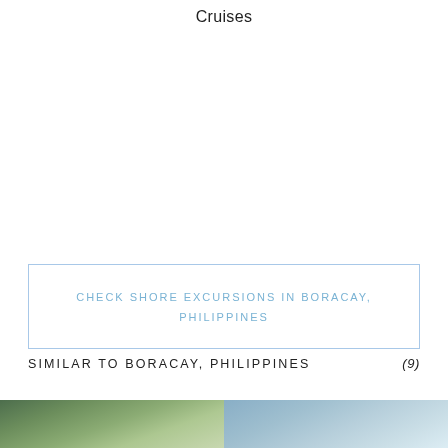Cruises
CHECK SHORE EXCURSIONS IN BORACAY, PHILIPPINES
SIMILAR TO BORACAY, PHILIPPINES  (9)
[Figure (photo): Thumbnail photo left - tropical/green landscape]
[Figure (photo): Thumbnail photo right - coastal/water scene]